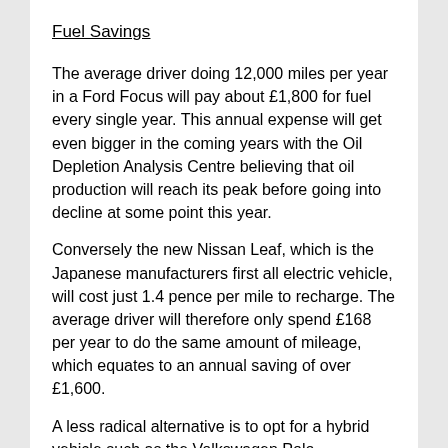Fuel Savings
The average driver doing 12,000 miles per year in a Ford Focus will pay about £1,800 for fuel every single year. This annual expense will get even bigger in the coming years with the Oil Depletion Analysis Centre believing that oil production will reach its peak before going into decline at some point this year.
Conversely the new Nissan Leaf, which is the Japanese manufacturers first all electric vehicle, will cost just 1.4 pence per mile to recharge. The average driver will therefore only spend £168 per year to do the same amount of mileage, which equates to an annual saving of over £1,600.
A less radical alternative is to opt for a hybrid vehicle such as the Volkswagen Polo Bluemotion, which has an average fuel consumption of 74.3 mpg (miles per